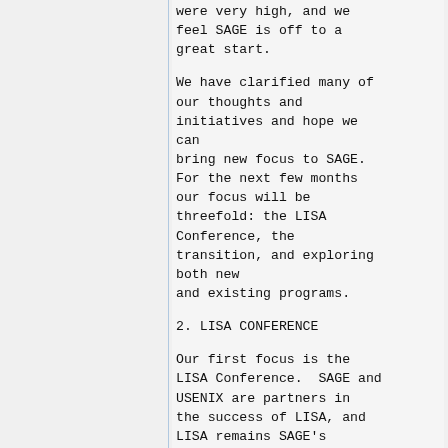were very high, and we feel SAGE is off to a great start.
We have clarified many of our thoughts and initiatives and hope we can bring new focus to SAGE. For the next few months our focus will be threefold: the LISA Conference, the transition, and exploring both new and existing programs.
2. LISA CONFERENCE
Our first focus is the LISA Conference.  SAGE and USENIX are partners in the success of LISA, and LISA remains SAGE's premier conference.  This